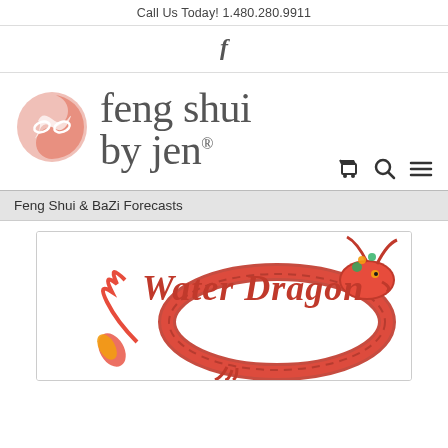Call Us Today! 1.480.280.9911
[Figure (logo): Facebook icon 'f']
[Figure (logo): Feng Shui by Jen logo with pink yin-yang circle and stylized text 'feng shui by jen®' with shopping cart, search, and menu icons]
Feng Shui & BaZi Forecasts
[Figure (illustration): Water Dragon title card with red dragon illustration and red cursive 'Water Dragon' text on white background]